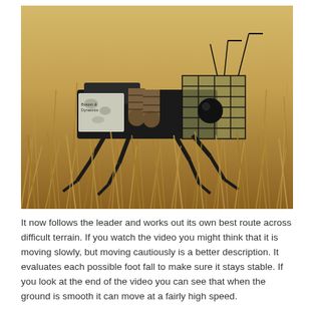[Figure (photo): A quadruped military-style robot (resembling Boston Dynamics LS3/BigDog) walking through tall dry golden grass in an open field. The robot has a boxy mechanical body with various equipment mounted on top including cages, barrels, and electronic components. Its four articulated legs are visible moving through the dense grass.]
It now follows the leader and works out its own best route across difficult terrain. If you watch the video you might think that it is moving slowly, but moving cautiously is a better description. It evaluates each possible foot fall to make sure it stays stable. If you look at the end of the video you can see that when the ground is smooth it can move at a fairly high speed.